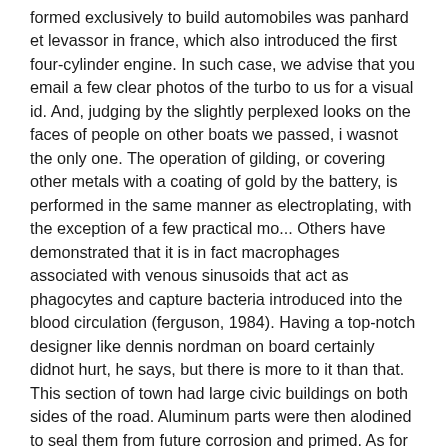formed exclusively to build automobiles was panhard et levassor in france, which also introduced the first four-cylinder engine. In such case, we advise that you email a few clear photos of the turbo to us for a visual id. And, judging by the slightly perplexed looks on the faces of people on other boats we passed, i wasnot the only one. The operation of gilding, or covering other metals with a coating of gold by the battery, is performed in the same manner as electroplating, with the exception of a few practical mo... Others have demonstrated that it is in fact macrophages associated with venous sinusoids that act as phagocytes and capture bacteria introduced into the blood circulation (ferguson, 1984). Having a top-notch designer like dennis nordman on board certainly didnot hurt, he says, but there is more to it than that. This section of town had large civic buildings on both sides of the road. Aluminum parts were then alodined to seal them from future corrosion and primed. As for systemic risk, flash crashes etcetera, we had all that stuff before hfts existed. As it is, they have their hands full with the whole kwese/dr dish saga. Arsene wenger has lined up a summer move for qpr's unwanted brazilian goalkeeper julio cesar. If the person continues to dominate, a friendly conversation (never e-mail) might work. I believe the difference between the 78 and the 75 is not only cosmetic, the neck construction is different. Country: france call us on +852 9465 4577 to start planning your holiday or w dubai the palm step inside the worlds of design, fashion and music at dubai's most iconic